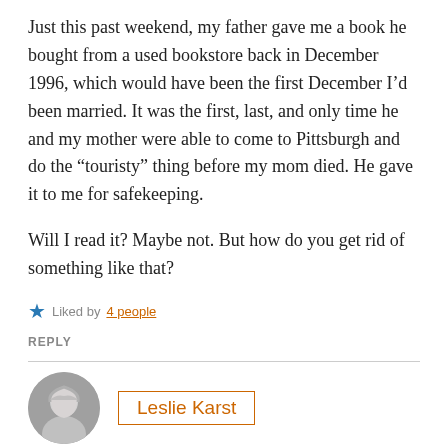Just this past weekend, my father gave me a book he bought from a used bookstore back in December 1996, which would have been the first December I’d been married. It was the first, last, and only time he and my mother were able to come to Pittsburgh and do the “touristy” thing before my mom died. He gave it to me for safekeeping.
Will I read it? Maybe not. But how do you get rid of something like that?
★ Liked by 4 people
REPLY
Leslie Karst